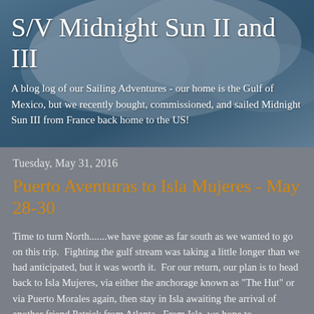[Figure (photo): Background photo of stormy ocean waves with blue-grey tones used as blog header image]
S/V Midnight Sun II and III
A blog log of our Sailing Adventures - our home is the Gulf of Mexico, but we recently bought, commissioned, and sailed Midnight Sun III from France back home to the US!
Tuesday, May 31, 2016
Puerto Aventuras to Isla Mujeres - May 28-30
Time to turn North.......we have gone as far south as we wanted to go on this trip.  Fighting the gulf stream was taking a little longer than we had anticipated, but it was worth it.  For our return, our plan is to head back to Isla Mujeres, via either the anchorage known as "The Hut" or via Puerto Morales again, then stay in Isla awaiting the arrival of another friend Patrick from Atlanta.  From Isla, we hope to